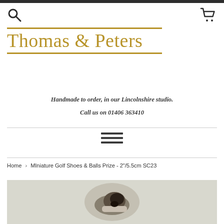Thomas & Peters
Handmade to order, in our Lincolnshire studio.
Call us on 01406 363410
Home > MIniature Golf Shoes & Balls Prize - 2"/5.5cm SC23
[Figure (photo): Partial product photo of miniature golf shoes item on light background]